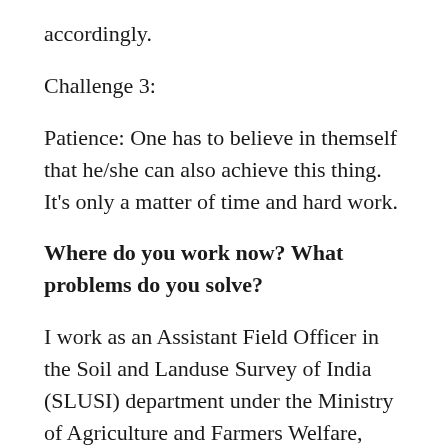accordingly.
Challenge 3:
Patience: One has to believe in themself that he/she can also achieve this thing. It's only a matter of time and hard work.
Where do you work now? What problems do you solve?
I work as an Assistant Field Officer in the Soil and Landuse Survey of India (SLUSI) department under the Ministry of Agriculture and Farmers Welfare, GoI.